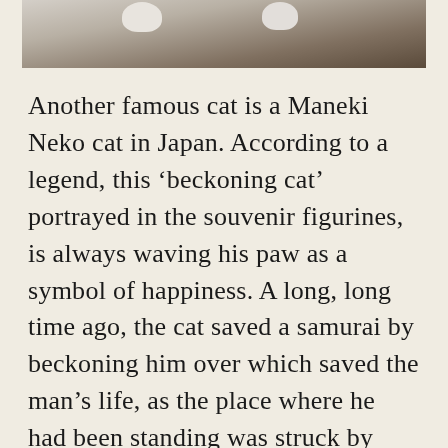[Figure (photo): A cat sitting on or near a wooden surface, viewed from above; only the paws and part of the body visible at the top of the image.]
Another famous cat is a Maneki Neko cat in Japan. According to a legend, this 'beckoning cat' portrayed in the souvenir figurines, is always waving his paw as a symbol of happiness. A long, long time ago, the cat saved a samurai by beckoning him over which saved the man's life, as the place where he had been standing was struck by lightning. In gratitude, the samurai built a temple in that place. Those who are devotees of Zen after years of practice at spiritual perfection, they may even hope to